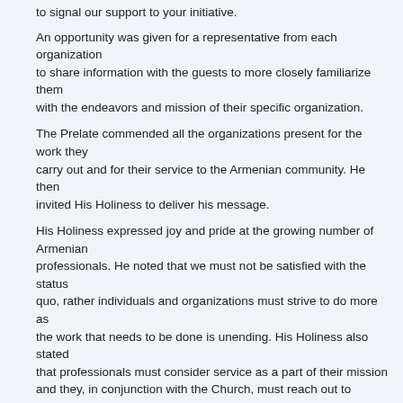to signal our support to your initiative.
An opportunity was given for a representative from each organization to share information with the guests to more closely familiarize them with the endeavors and mission of their specific organization.
The Prelate commended all the organizations present for the work they carry out and for their service to the Armenian community. He then invited His Holiness to deliver his message.
His Holiness expressed joy and pride at the growing number of Armenian professionals. He noted that we must not be satisfied with the status quo, rather individuals and organizations must strive to do more as the work that needs to be done is unending. His Holiness also stated that professionals must consider service as a part of their mission and they, in conjunction with the Church, must reach out to members of society and assist in the betterment of their communities.
A question and answer session followed on topics including confiscated Churches in Western Armenia and the growing number of religious factions in Armenia and the Diaspora. In conclusion, His Holiness stated that manpower is much more crucial then financial capacity, as manpower is God given while the financial is man built.